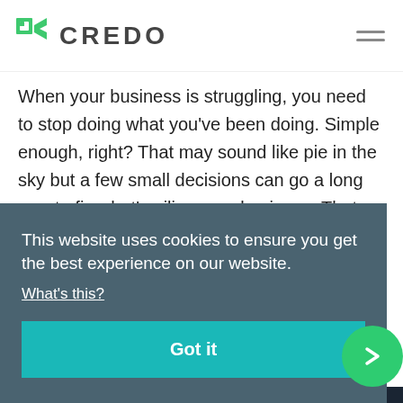CREDO
When your business is struggling, you need to stop doing what you've been doing. Simple enough, right? That may sound like pie in the sky but a few small decisions can go a long way to fix what's ailing your business. That doesn't mean it will be smooth sailing. But if you take a holistic, strategic approach to beat back the struggle, your business can grow into everything you imagined. Almost every business will hit roadblocks at one point
This website uses cookies to ensure you get the best experience on our website. What's this? Got it